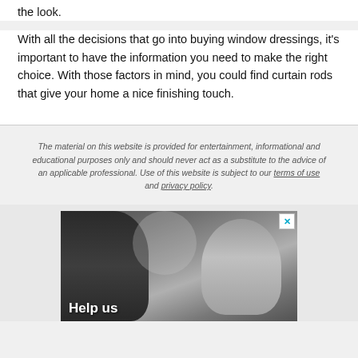the look.
With all the decisions that go into buying window dressings, it's important to have the information you need to make the right choice. With those factors in mind, you could find curtain rods that give your home a nice finishing touch.
The material on this website is provided for entertainment, informational and educational purposes only and should never act as a substitute to the advice of an applicable professional. Use of this website is subject to our terms of use and privacy policy.
[Figure (photo): Black and white photo showing two people, one smiling man facing forward and another person with back turned, with overlay text 'Help us' at the bottom left.]